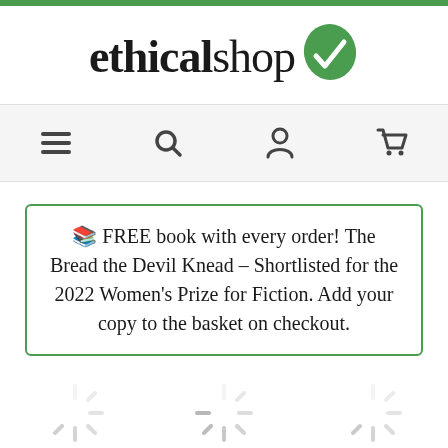[Figure (logo): ethicalshop logo with green leaf and checkmark icon]
[Figure (infographic): Navigation bar with hamburger menu, search, account, and cart icons]
🎁 FREE book with every order! The Bread the Devil Knead – Shortlisted for the 2022 Women's Prize for Fiction. Add your copy to the basket on checkout.
[Figure (infographic): Loading spinners at bottom of page (three partial circular spinner icons)]